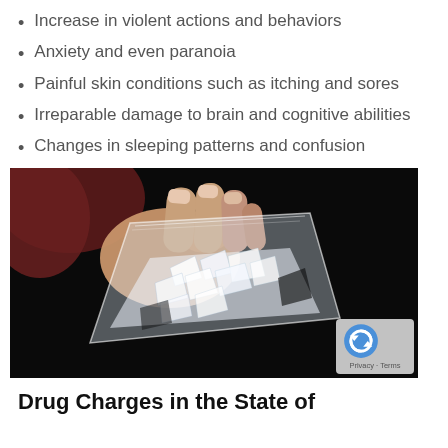Increase in violent actions and behaviors
Anxiety and even paranoia
Painful skin conditions such as itching and sores
Irreparable damage to brain and cognitive abilities
Changes in sleeping patterns and confusion
[Figure (photo): A hand holding a small plastic bag containing white crystalline substance (methamphetamine) against a dark black background. A reCAPTCHA badge is visible in the lower right corner.]
Drug Charges in the State of